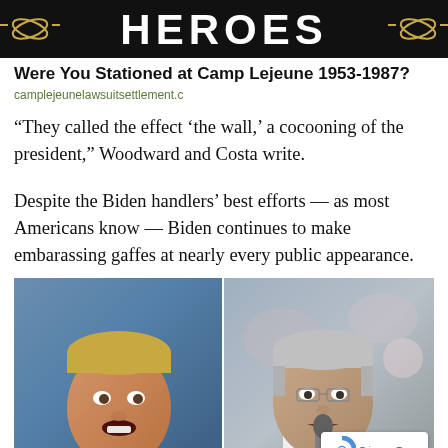[Figure (illustration): Black banner with 'HEROES' text in large white block letters, flanked by gold nautical rope ornaments on each side]
Were You Stationed at Camp Lejeune 1953-1987?
camplejeunelawsuitsettlement.c
“They called the effect ‘the wall,’ a cocooning of the president,” Woodward and Costa write.
Despite the Biden handlers’ best efforts — as most Americans know — Biden continues to make embarassing gaffes at nearly every public appearance.
[Figure (photo): Side-by-side photos: left shows a man in a suit with red tie speaking with mouth open against a blue background; right shows an older grey-haired man speaking into a microphone against a blurred crowd background. A reCAPTCHA badge with 'Privacy · Terms' text is in the bottom right corner.]